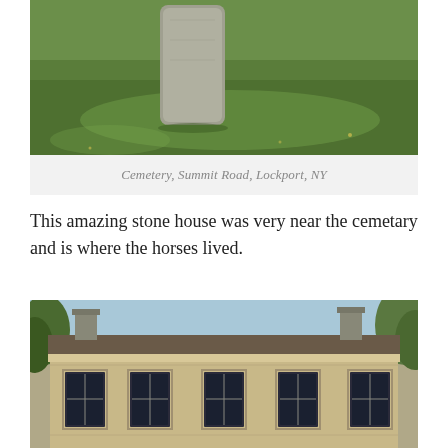[Figure (photo): Photo of a cemetery with a stone grave marker and green grass, Summit Road, Lockport, NY]
Cemetery, Summit Road, Lockport, NY
This amazing stone house was very near the cemetary and is where the horses lived.
[Figure (photo): Photo of a stone house with a flat roof, two chimneys, and five windows visible on the upper floor, surrounded by trees]